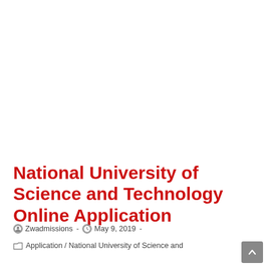National University of Science and Technology Online Application
Zwadmissions - May 9, 2019 -
Application / National University of Science and